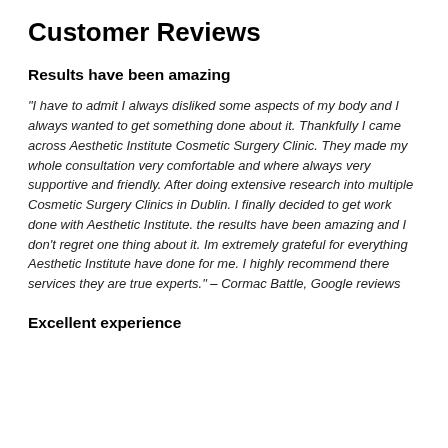Customer Reviews
Results have been amazing
“I have to admit I always disliked some aspects of my body and I always wanted to get something done about it. Thankfully I came across Aesthetic Institute Cosmetic Surgery Clinic. They made my whole consultation very comfortable and where always very supportive and friendly. After doing extensive research into multiple Cosmetic Surgery Clinics in Dublin. I finally decided to get work done with Aesthetic Institute. the results have been amazing and I don’t regret one thing about it. Im extremely grateful for everything Aesthetic Institute have done for me. I highly recommend there services they are true experts.” – Cormac Battle, Google reviews
Excellent experience